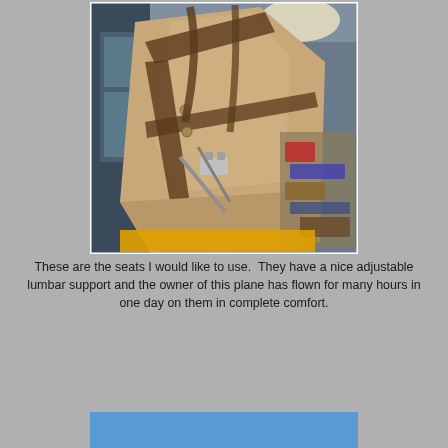[Figure (photo): Photo of tan/beige aircraft seats with harness straps, adjustable lumbar support, visible hardware and clamps. The seats are installed in an aircraft interior with blue walls/panels visible in the background and various items stored nearby.]
These are the seats I would like to use.  They have a nice adjustable lumbar support and the owner of this plane has flown for many hours in one day on them in complete comfort.